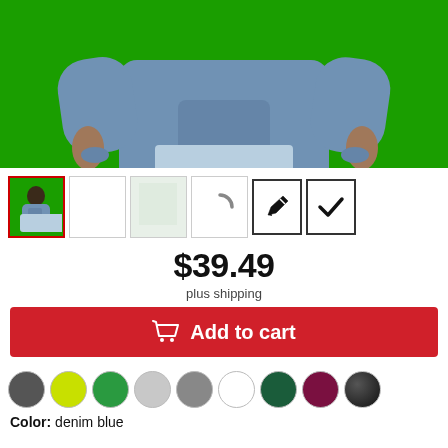[Figure (photo): Man wearing a denim blue hoodie sweatshirt on a green background, cropped from chest to thighs]
[Figure (photo): Row of product thumbnails: main photo (selected), blank white, light green/white, loading spinner, pencil/edit icon, checkmark icon]
$39.49
plus shipping
Add to cart
[Figure (infographic): Color swatches row: dark gray, yellow-green, green, light gray, medium gray, white, dark green, maroon/burgundy, black]
Color: denim blue